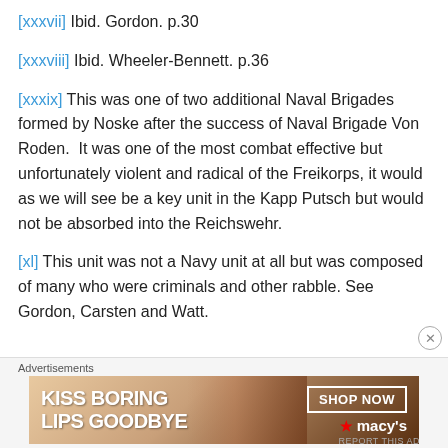[xxxvii] Ibid. Gordon. p.30
[xxxviii] Ibid. Wheeler-Bennett. p.36
[xxxix] This was one of two additional Naval Brigades formed by Noske after the success of Naval Brigade Von Roden.  It was one of the most combat effective but unfortunately violent and radical of the Freikorps, it would as we will see be a key unit in the Kapp Putsch but would not be absorbed into the Reichswehr.
[xl] This unit was not a Navy unit at all but was composed of many who were criminals and other rabble. See Gordon, Carsten and Watt.
[Figure (other): Advertisement banner: KISS BORING LIPS GOODBYE - SHOP NOW - macys]